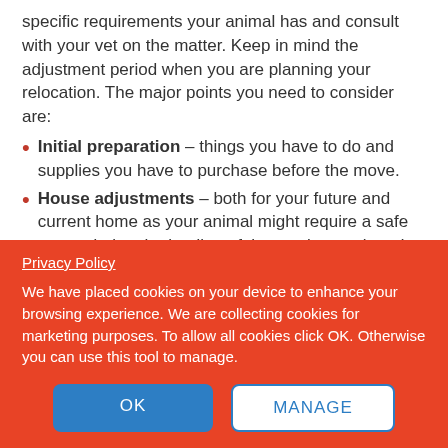specific requirements your animal has and consult with your vet on the matter. Keep in mind the adjustment period when you are planning your relocation. The major points you need to consider are:
Initial preparation – things you have to do and supplies you have to purchase before the move.
House adjustments – both for your future and current home as your animal might require a safe space during the loading of the moving truck and while getting used to its new residence.
Transportation – depending on the pet that might include the packing of its cage or tank.
Privacy Policy
We have placed cookies on your device to enhance your browsing experience. We are collecting cookies for marketing purposes. To allow all cookies click OK. Otherwise you can use this tool to manage.